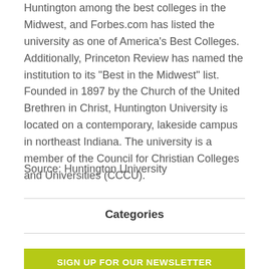Huntington among the best colleges in the Midwest, and Forbes.com has listed the university as one of America's Best Colleges. Additionally, Princeton Review has named the institution to its "Best in the Midwest" list. Founded in 1897 by the Church of the United Brethren in Christ, Huntington University is located on a contemporary, lakeside campus in northeast Indiana. The university is a member of the Council for Christian Colleges and Universities (CCCU).
Source: Huntington University
Categories
SIGN UP FOR OUR NEWSLETTER